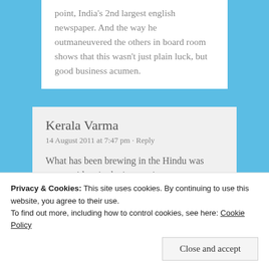point, India's 2nd largest english newspaper. And the way he outmaneuvered the others in board room shows that this wasn't just plain luck, but good business acumen.
Kerala Varma
14 August 2011 at 7:47 pm · Reply
What has been brewing in the Hindu was more evident in the inconspicuous
Privacy & Cookies: This site uses cookies. By continuing to use this website, you agree to their use. To find out more, including how to control cookies, see here: Cookie Policy